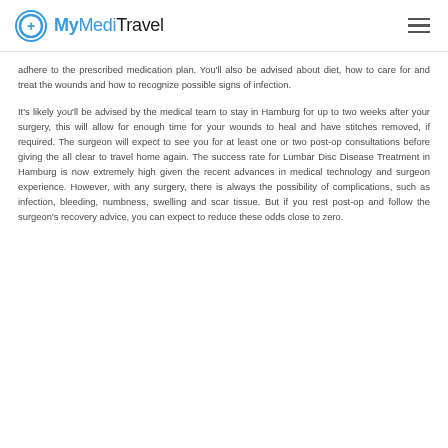MyMediTravel
adhere to the prescribed medication plan. You'll also be advised about diet, how to care for and treat the wounds and how to recognize possible signs of infection.
It's likely you'll be advised by the medical team to stay in Hamburg for up to two weeks after your surgery, this will allow for enough time for your wounds to heal and have stitches removed, if required. The surgeon will expect to see you for at least one or two post-op consultations before giving the all clear to travel home again. The success rate for Lumbar Disc Disease Treatment in Hamburg is now extremely high given the recent advances in medical technology and surgeon experience. However, with any surgery, there is always the possibility of complications, such as infection, bleeding, numbness, swelling and scar tissue. But if you rest post-op and follow the surgeon's recovery advice, you can expect to reduce these odds close to zero.